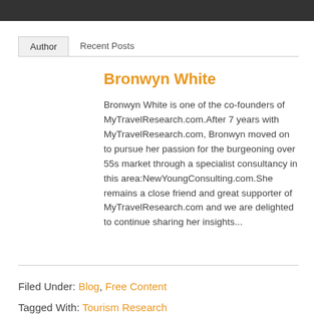Author | Recent Posts
Bronwyn White
Bronwyn White is one of the co-founders of MyTravelResearch.com.After 7 years with MyTravelResearch.com, Bronwyn moved on to pursue her passion for the burgeoning over 55s market through a specialist consultancy in this area:NewYoungConsulting.com.She remains a close friend and great supporter of MyTravelResearch.com and we are delighted to continue sharing her insights...
Filed Under: Blog, Free Content
Tagged With: Tourism Research